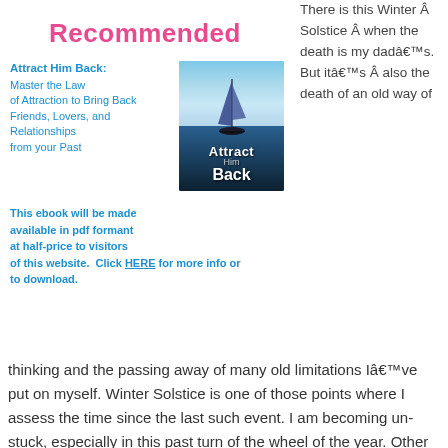Recommended
Attract Him Back: Master the Law of Attraction to Bring Back Friends, Lovers, and Relationships from your Past
[Figure (illustration): Book cover for 'Attract Him Back' showing a sailboat on water at sunset/dusk with text overlay]
This ebook will be made available in pdf formant at half-price to visitors of this website.  Click HERE for more info or to download.
There is this Winter Â Solstice Â when the death is my dadâ€™s. But itâ€™s Â also the death of an old way of thinking and the passing away of many old limitations Iâ€™ve put on myself. Winter Solstice is one of those points where I assess the time since the last such event. I am becoming un- stuck, especially in this past turn of the wheel of the year. Other